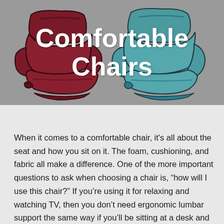[Figure (illustration): Two illustrated recliner chairs side by side — one dark maroon/burgundy on the left and one teal/blue-green on the right — on a gray background. Large white bold text 'Comfortable Chairs' overlays the image.]
Comfortable Chairs
When it comes to a comfortable chair, it's all about the seat and how you sit on it. The foam, cushioning, and fabric all make a difference. One of the more important questions to ask when choosing a chair is, “how will I use this chair?” If you’re using it for relaxing and watching TV, then you don’t need ergonomic lumbar support the same way if you’ll be sitting at a desk and typing for long periods or if you’ll be